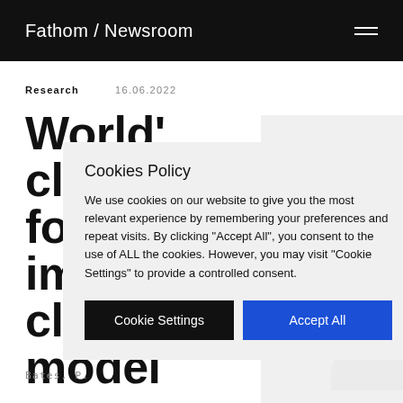Fathom / Newsroom
Research   16.06.2022
World's climat for fun improv climat model
Bates, P.
Cookies Policy
We use cookies on our website to give you the most relevant experience by remembering your preferences and repeat visits. By clicking “Accept All”, you consent to the use of ALL the cookies. However, you may visit "Cookie Settings" to provide a controlled consent.
Cookie Settings   Accept All